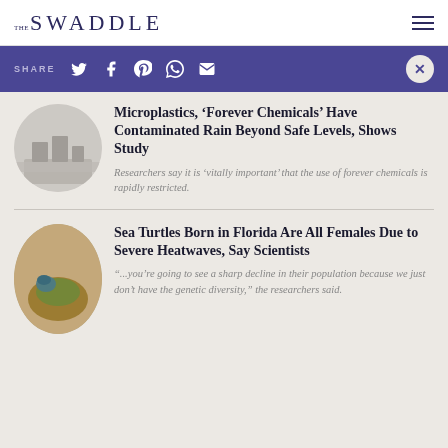THE SWADDLE
SHARE
Microplastics, ‘Forever Chemicals’ Have Contaminated Rain Beyond Safe Levels, Shows Study
Researchers say it is ‘vitally important’ that the use of forever chemicals is rapidly restricted.
Sea Turtles Born in Florida Are All Females Due to Severe Heatwaves, Say Scientists
“...you’re going to see a sharp decline in their population because we just don’t have the genetic diversity,” the researchers said.